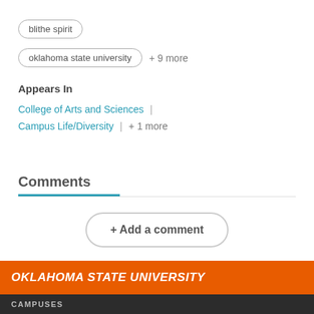blithe spirit
oklahoma state university + 9 more
Appears In
College of Arts and Sciences | Campus Life/Diversity | + 1 more
Comments
+ Add a comment
OKLAHOMA STATE UNIVERSITY
CAMPUSES